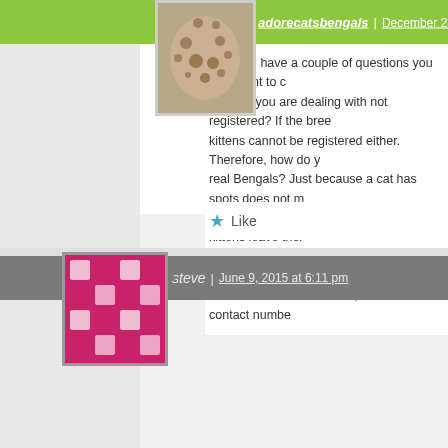adorecatsbengals | December 23, 2014 at 9:18
Hi Erin: I have a couple of questions you may want to c... breeder you are dealing with not registered? If the bree... kittens cannot be registered either. Therefore, how do y... real Bengals? Just because a cat has spots does not m... reputable Bengal breeder will let their kittens leave thei... only 5 weeks old so why should you accept them? If yo... considered for one of ours, call us at our contact numbe...
Like
steve | June 9, 2015 at 6:11 pm
Can cats from Michigan be brought to Canada easily?
Like